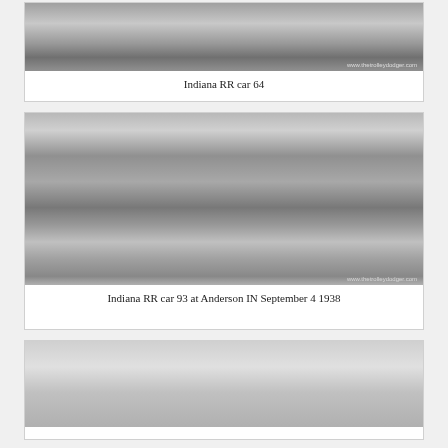[Figure (photo): Black and white photograph of Indiana Railroad car 64, showing the top portion of a streetcar/interurban car. Watermark reads www.thetrolleydodger.com]
Indiana RR car 64
[Figure (photo): Black and white photograph of Indiana Railroad car 93 at Anderson, Indiana on September 4, 1938. The interurban car is shown at a station with industrial buildings, smokestacks, and a water tower in the background. A sign on the car reads 'NEW CASTLE'. Watermark reads www.thetrolleydodger.com]
Indiana RR car 93 at Anderson IN September 4 1938
[Figure (photo): Black and white photograph, partially visible, appears to show a bird in flight against a light sky with a utility pole visible on the right side]